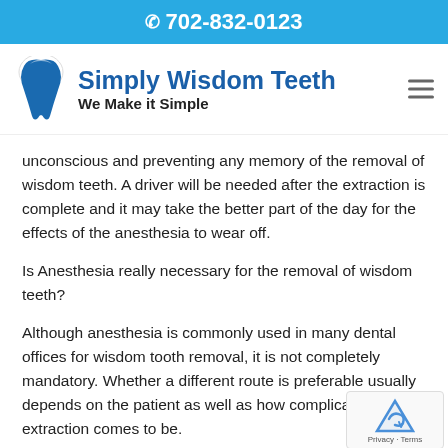702-832-0123
Simply Wisdom Teeth
We Make it Simple
unconscious and preventing any memory of the removal of wisdom teeth. A driver will be needed after the extraction is complete and it may take the better part of the day for the effects of the anesthesia to wear off.
Is Anesthesia really necessary for the removal of wisdom teeth?
Although anesthesia is commonly used in many dental offices for wisdom tooth removal, it is not completely mandatory. Whether a different route is preferable usually depends on the patient as well as how complicated the extraction comes to be.